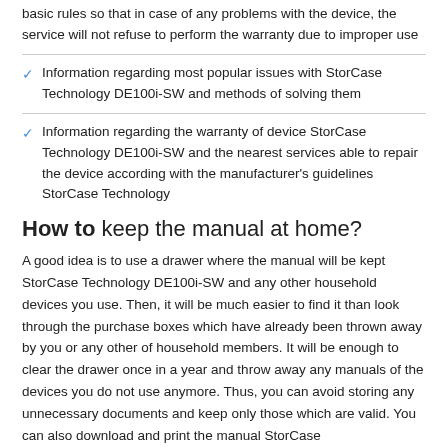basic rules so that in case of any problems with the device, the service will not refuse to perform the warranty due to improper use
Information regarding most popular issues with StorCase Technology DE100i-SW and methods of solving them
Information regarding the warranty of device StorCase Technology DE100i-SW and the nearest services able to repair the device according with the manufacturer's guidelines StorCase Technology
How to keep the manual at home?
A good idea is to use a drawer where the manual will be kept StorCase Technology DE100i-SW and any other household devices you use. Then, it will be much easier to find it than look through the purchase boxes which have already been thrown away by you or any other of household members. It will be enough to clear the drawer once in a year and throw away any manuals of the devices you do not use anymore. Thus, you can avoid storing any unnecessary documents and keep only those which are valid. You can also download and print the manual StorCase